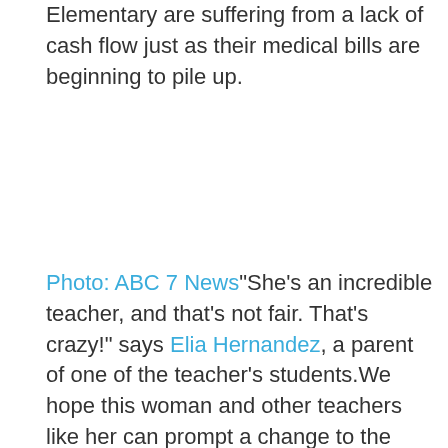Elementary are suffering from a lack of cash flow just as their medical bills are beginning to pile up.
Photo: ABC 7 News
"She's an incredible teacher, and that's not fair. That's crazy!" says Elia Hernandez, a parent of one of the teacher's students.We hope this woman and other teachers like her can prompt a change to the system so that they don't have to worry about how they're going to handle potential future medical expenses while they're not working. Our teachers deserve so much better than this!Check out the